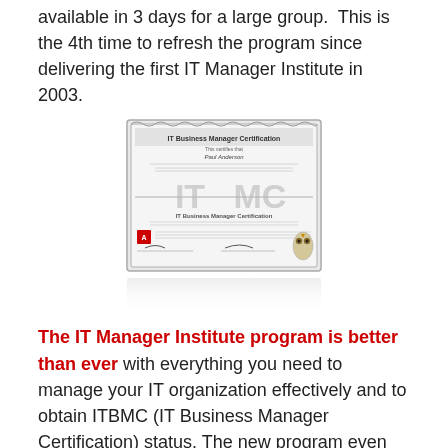available in 3 days for a large group.  This is the 4th time to refresh the program since delivering the first IT Manager Institute in 2003.
[Figure (photo): IT Business Manager Certification certificate with reflection below]
The IT Manager Institute program is better than ever with everything you need to manage your IT organization effectively and to obtain ITBMC (IT Business Manager Certification) status. The new program even has a few extra gifts for students not available in earlier classes.
I will also launch my new book next week during the